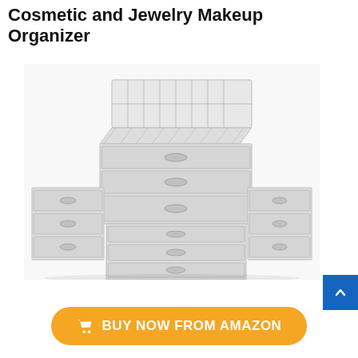Cosmetic and Jewelry Makeup Organizer
[Figure (photo): Clear acrylic cosmetic and jewelry makeup organizer with multiple drawers and compartments, arranged in a stacked configuration showing top lipstick/makeup holder section and several drawer units below.]
BUY NOW FROM AMAZON